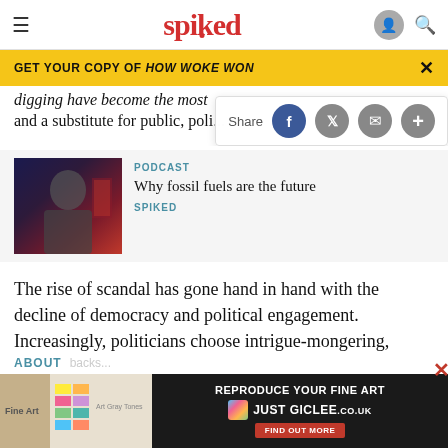spiked
GET YOUR COPY OF HOW WOKE WON
...gging have become the most and a substitute for public, poli...
[Figure (photo): Podcast thumbnail showing a man speaking against a dark red/purple background]
PODCAST
Why fossil fuels are the future
SPIKED
The rise of scandal has gone hand in hand with the decline of democracy and political engagement. Increasingly, politicians choose intrigue-mongering,
[Figure (photo): Advertisement banner: REPRODUCE YOUR FINE ART - JUST GICLEE.co.uk - FIND OUT MORE]
ABOUT